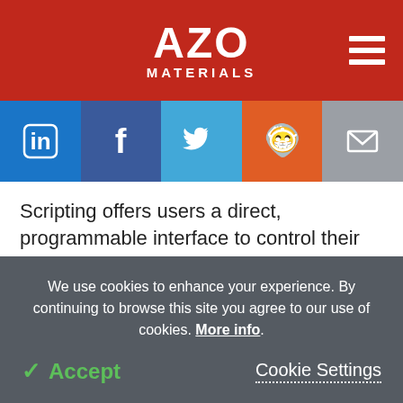AZO MATERIALS
[Figure (infographic): Social media share buttons: LinkedIn, Facebook, Twitter, Reddit, Email]
Scripting offers users a direct, programmable interface to control their instruments' hardware and mode of operation. Most instruments will use either a standard or proprietary scripting language.
For example, the Thermo Scientific Phenom™
We use cookies to enhance your experience. By continuing to browse this site you agree to our use of cookies. More info.
✓ Accept   Cookie Settings